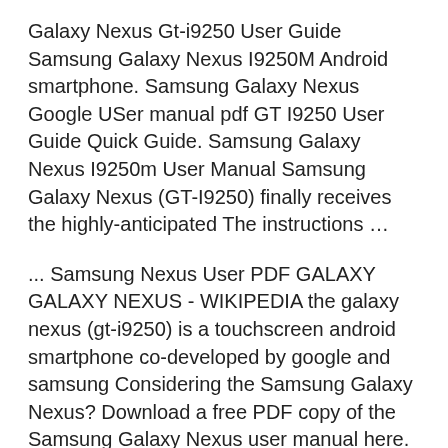Galaxy Nexus Gt-i9250 User Guide Samsung Galaxy Nexus I9250M Android smartphone. Samsung Galaxy Nexus Google USer manual pdf GT I9250 User Guide Quick Guide. Samsung Galaxy Nexus I9250m User Manual Samsung Galaxy Nexus (GT-I9250) finally receives the highly-anticipated The instructions …
... Samsung Nexus User PDF GALAXY GALAXY NEXUS - WIKIPEDIA the galaxy nexus (gt-i9250) is a touchscreen android smartphone co-developed by google and samsung Considering the Samsung Galaxy Nexus? Download a free PDF copy of the Samsung Galaxy Nexus user manual here. Google Nexus 3, Google Nexus 4G, Samsung I9250: